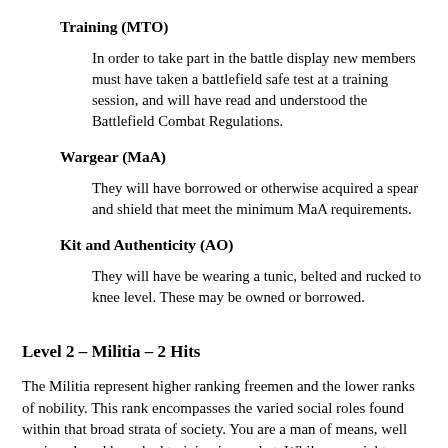Training (MTO)
In order to take part in the battle display new members must have taken a battlefield safe test at a training session, and will have read and understood the Battlefield Combat Regulations.
Wargear (MaA)
They will have borrowed or otherwise acquired a spear and shield that meet the minimum MaA requirements.
Kit and Authenticity (AO)
They will have be wearing a tunic, belted and rucked to knee level. These may be owned or borrowed.
Level 2 – Militia – 2 Hits
The Militia represent higher ranking freemen and the lower ranks of nobility. This rank encompasses the varied social roles found within that broad strata of society. You are a man of means, well equipped, and have had training in combat. While you might own land you are primarily a warrior. You would be a warrior who